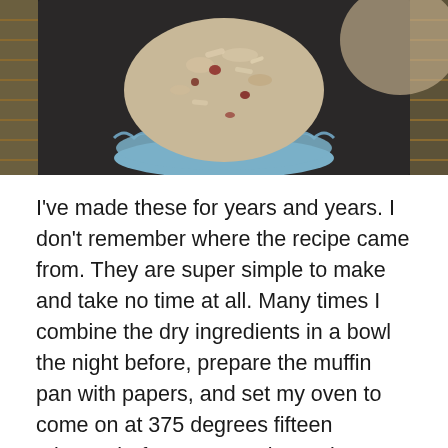[Figure (photo): Close-up photo of a muffin in a blue paper liner on a dark baking pan, seen from above at slight angle.]
I've made these for years and years. I don't remember where the recipe came from. They are super simple to make and take no time at all. Many times I combine the dry ingredients in a bowl the night before, prepare the muffin pan with papers, and set my oven to come on at 375 degrees fifteen minutes before my morning wake-up alarm goes off. Then in the morning I add the three wet ingredients, distribute the batter into the prepared pan, pop them into the oven to bake while I shower, and have a tasty breakfast all ready for the day.
I've probably used every kind of dried fruit imaginable in these, and quite a few different frozen fruits, too. Today's